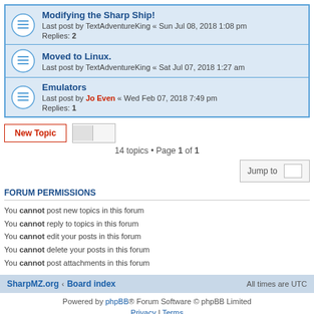Modifying the Sharp Ship! Last post by TextAdventureKing « Sun Jul 08, 2018 1:08 pm Replies: 2
Moved to Linux. Last post by TextAdventureKing « Sat Jul 07, 2018 1:27 am
Emulators Last post by Jo Even « Wed Feb 07, 2018 7:49 pm Replies: 1
14 topics • Page 1 of 1
Jump to
FORUM PERMISSIONS
You cannot post new topics in this forum
You cannot reply to topics in this forum
You cannot edit your posts in this forum
You cannot delete your posts in this forum
You cannot post attachments in this forum
SharpMZ.org · Board index    All times are UTC
Powered by phpBB® Forum Software © phpBB Limited
Privacy | Terms